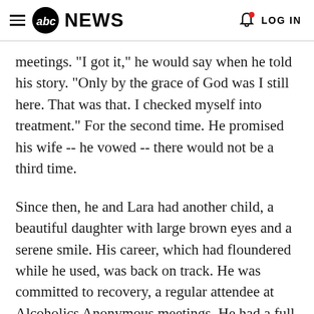abc NEWS  LOG IN
meetings. "I got it," he would say when he told his story. "Only by the grace of God was I still here. That was that. I checked myself into treatment." For the second time. He promised his wife -- he vowed -- there would not be a third time.
Since then, he and Lara had another child, a beautiful daughter with large brown eyes and a serene smile. His career, which had floundered while he used, was back on track. He was committed to recovery, a regular attendee at Alcoholics Anonymous meetings. He had a full life, a happy life.